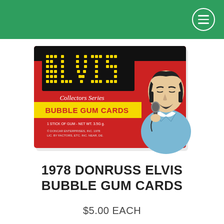[Figure (photo): Elvis Collectors Series Bubble Gum Cards box, red packaging with yellow dot-matrix ELVIS lettering, illustration of Elvis singing into a microphone on the right side, 1978 Donruss product]
1978 DONRUSS ELVIS BUBBLE GUM CARDS
$5.00 EACH